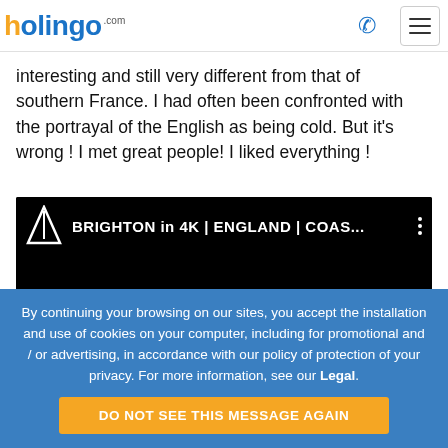holingo.com
interesting and still very different from that of southern France. I had often been confronted with the portrayal of the English as being cold. But it's wrong ! I met great people! I liked everything !
[Figure (screenshot): Video thumbnail showing a dark/black screen with a triangular logo icon and text: BRIGHTON in 4K | ENGLAND | COAS... with three vertical dots menu icon]
By continuing your browsing on our sites, you accept the installation and use of cookies on your computer, including for promotional and / or advertising, in accordance with our policy of protection of your privacy. For more information, see our Legal.
DO NOT SEE THIS MESSAGE AGAIN